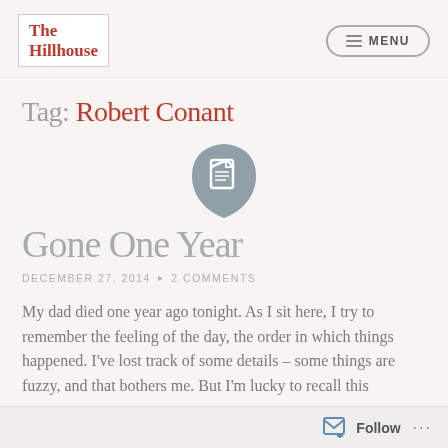The Hillhouse | MENU
Tag: Robert Conant
[Figure (illustration): Grey shield/teardrop shaped icon with a document page symbol inside]
Gone One Year
DECEMBER 27, 2014 • 2 COMMENTS
My dad died one year ago tonight. As I sit here, I try to remember the feeling of the day, the order in which things happened. I've lost track of some details – some things are fuzzy, and that bothers me. But I'm lucky to recall this
Follow ...